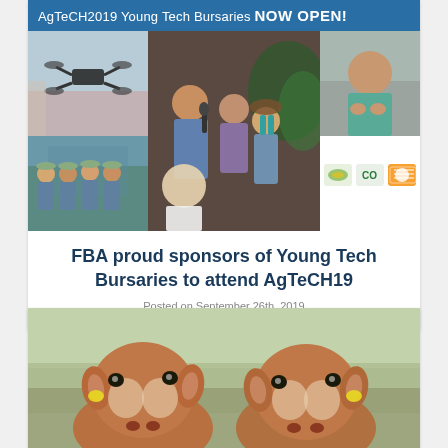AgTeCH2019 Young Tech Bursaries NOW OPEN!
[Figure (photo): Photo collage: drone in field (top-left), group of young people in blue shirts (bottom-left), man speaking to panel with microphone (center), audience member in teal shirt (top-right), logos strip (bottom-right)]
FBA proud sponsors of Young Tech Bursaries to attend AgTeCH19
Posted on September 26th, 2019
[Figure (photo): Close-up photo of two brown Brahman cattle with yellow ear tags facing the camera]